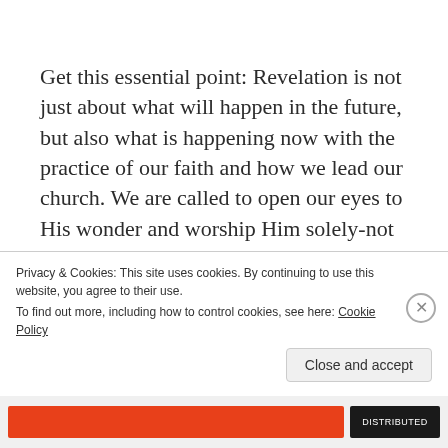Get this essential point: Revelation is not just about what will happen in the future, but also what is happening now with the practice of our faith and how we lead our church. We are called to open our eyes to His wonder and worship Him solely-not our ways and trends, and not our pride and feelings. Revelation is about His church and that we run it His way, worshiping...
Privacy & Cookies: This site uses cookies. By continuing to use this website, you agree to their use.
To find out more, including how to control cookies, see here: Cookie Policy
Close and accept